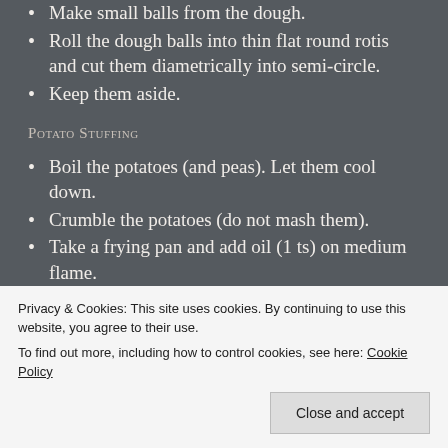Make small balls from the dough.
Roll the dough balls into thin flat round rotis and cut them diametrically into semi-circle.
Keep them aside.
Potato Stuffing
Boil the potatoes (and peas). Let them cool down.
Crumble the potatoes (do not mash them).
Take a frying pan and add oil (1 ts) on medium flame.
Privacy & Cookies: This site uses cookies. By continuing to use this website, you agree to their use. To find out more, including how to control cookies, see here: Cookie Policy
Close and accept